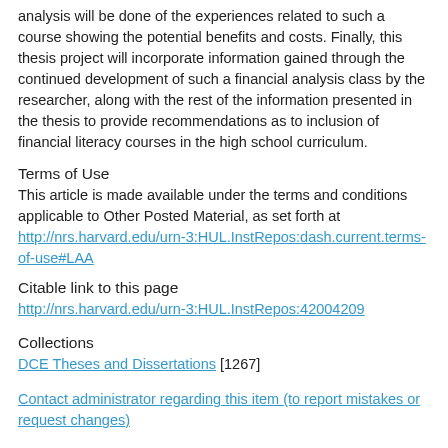analysis will be done of the experiences related to such a course showing the potential benefits and costs. Finally, this thesis project will incorporate information gained through the continued development of such a financial analysis class by the researcher, along with the rest of the information presented in the thesis to provide recommendations as to inclusion of financial literacy courses in the high school curriculum.
Terms of Use
This article is made available under the terms and conditions applicable to Other Posted Material, as set forth at http://nrs.harvard.edu/urn-3:HUL.InstRepos:dash.current.terms-of-use#LAA
Citable link to this page
http://nrs.harvard.edu/urn-3:HUL.InstRepos:42004209
Collections
DCE Theses and Dissertations [1267]
Contact administrator regarding this item (to report mistakes or request changes)